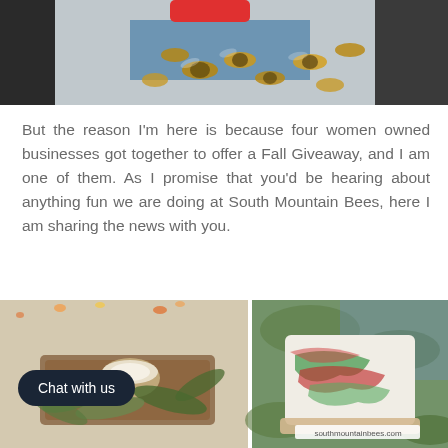[Figure (photo): Close-up photo of honeybees clustered near a blue-painted wooden hive entrance, with dark background on the left side. A red button/badge is partially visible at the top center.]
But the reason I'm here is because four women owned businesses got together to offer a Fall Giveaway, and I am one of them. As I promise that you'd be hearing about anything fun we are doing at South Mountain Bees, here I am sharing the news with you.
[Figure (photo): Two side-by-side product photos: left shows a candle or cream jar on a wooden tray surrounded by green leaves and candy corn; right shows a decorative soap bar with colorful swirls (green, red, white) from southmountainbees.com, displayed outdoors among plants.]